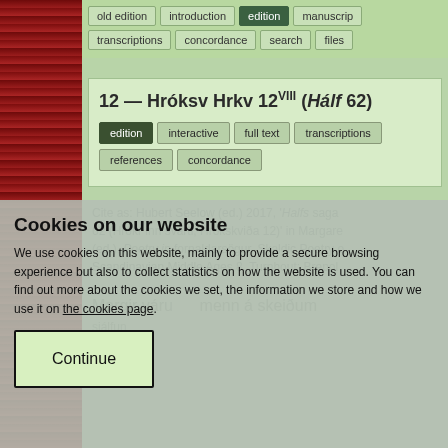[Figure (illustration): Red/maroon left sidebar with repeating runic or decorative pattern]
old edition | introduction | edition (active) | manuscript
transcriptions | concordance | search | files
12 — Hróksv Hrkv 12^VIII (Hálf 62)
edition (active) | interactive | full text | transcriptions
references | concordance
Cite as: Hubert Seelow (ed.) 2017, 'Halfs saga 62 (Hrókr inn svarti, Hrókskviða 12)' in Margaret (ed.), Poetry in fornaldarsögur. Skaldic Poetry of Scandinavian Middle Ages 8. Turnhout: Brepols
Margir váru    menn á skeiðum
ok Hak ... sjálfum ... þynir.
Cookies on our website
We use cookies on this website, mainly to provide a secure browsing experience but also to collect statistics on how the website is used. You can find out more about the cookies we set, the information we store and how we use it on the cookies page.
Continue